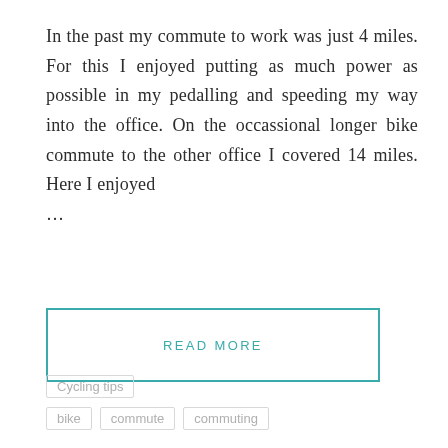In the past my commute to work was just 4 miles. For this I enjoyed putting as much power as possible in my pedalling and speeding my way into the office. On the occassional longer bike commute to the other office I covered 14 miles. Here I enjoyed ...
READ MORE
Cycling tips
bike   commute   commuting